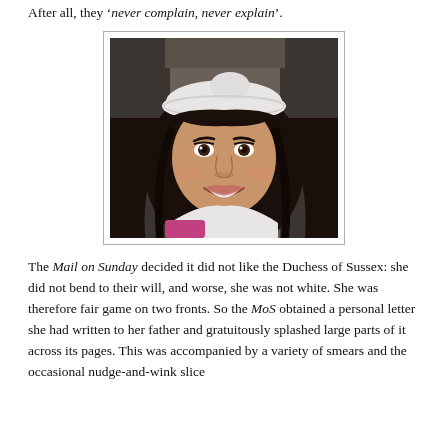After all, they ‘never complain, never explain’.
[Figure (photo): Portrait photo of a woman with long dark hair, smiling, wearing a white beret-style hat and white coat. Appears to be at a formal outdoor event.]
The Mail on Sunday decided it did not like the Duchess of Sussex: she did not bend to their will, and worse, she was not white. She was therefore fair game on two fronts. So the MoS obtained a personal letter she had written to her father and gratuitously splashed large parts of it across its pages. This was accompanied by a variety of smears and the occasional nudge-and-wink slice